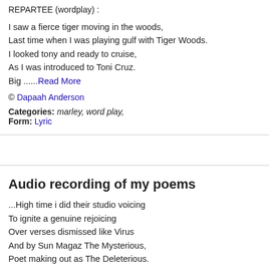REPARTEE (wordplay) :
I saw a fierce tiger moving in the woods,
Last time when I was playing gulf with Tiger Woods.
I looked tony and ready to cruise,
As I was introduced to Toni Cruz.
Big ......Read More
© Dapaah Anderson
Categories: marley, word play,
Form: Lyric
Audio recording of my poems
...High time i did their studio voicing
To ignite a genuine rejoicing
Over verses dismissed like Virus
And by Sun Magaz The Mysterious,
Poet making out as The Deleterious.
For all he might seem......Read More
© Chinedum Ekwobi